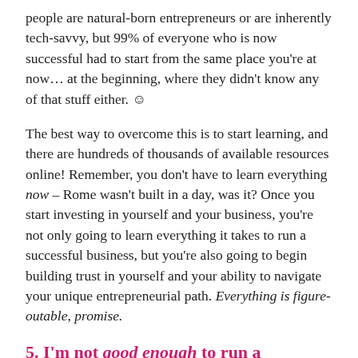people are natural-born entrepreneurs or are inherently tech-savvy, but 99% of everyone who is now successful had to start from the same place you're at now… at the beginning, where they didn't know any of that stuff either. ☺
The best way to overcome this is to start learning, and there are hundreds of thousands of available resources online! Remember, you don't have to learn everything now – Rome wasn't built in a day, was it? Once you start investing in yourself and your business, you're not only going to learn everything it takes to run a successful business, but you're also going to begin building trust in yourself and your ability to navigate your unique entrepreneurial path. Everything is figure-outable, promise.
5. I'm not good enough to run a business!